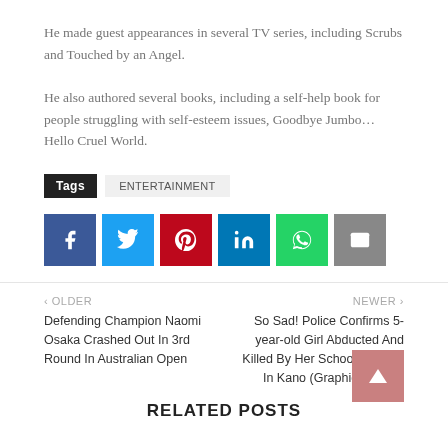He made guest appearances in several TV series, including Scrubs and Touched by an Angel.
He also authored several books, including a self-help book for people struggling with self-esteem issues, Goodbye Jumbo… Hello Cruel World.
Tags  ENTERTAINMENT
[Figure (other): Social share buttons: Facebook, Twitter, Pinterest, LinkedIn, WhatsApp, Email]
< OLDER  Defending Champion Naomi Osaka Crashed Out In 3rd Round In Australian Open
NEWER >  So Sad! Police Confirms 5-year-old Girl Abducted And Killed By Her School Teacher In Kano (Graphic Photos)
RELATED POSTS